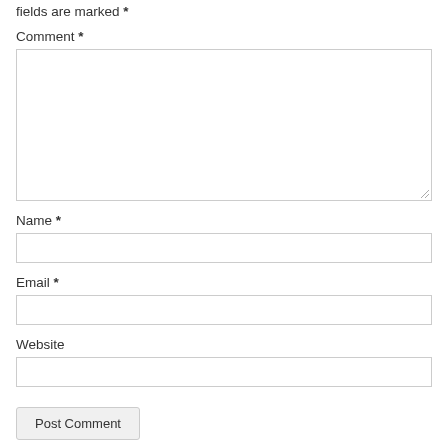fields are marked *
Comment *
[Figure (other): Large comment textarea input field]
Name *
[Figure (other): Name text input field]
Email *
[Figure (other): Email text input field]
Website
[Figure (other): Website text input field]
Post Comment